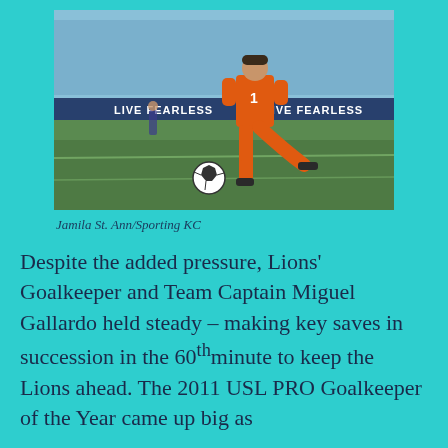[Figure (photo): Soccer goalkeeper in orange uniform kicking a ball on the field with a large crowd in the background. Stadium advertising banners read 'LIVE FEARLESS'.]
Jamila St. Ann/Sporting KC
Despite the added pressure, Lions' Goalkeeper and Team Captain Miguel Gallardo held steady – making key saves in succession in the 60th minute to keep the Lions ahead. The 2011 USL PRO Goalkeeper of the Year came up big as